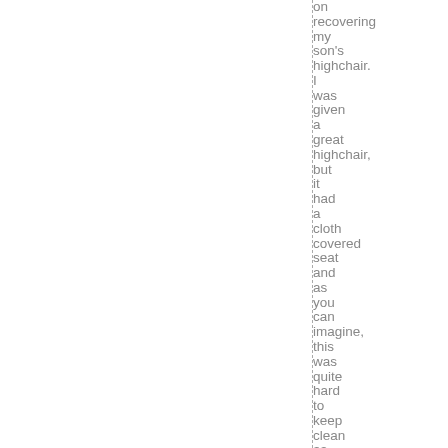on recovering my son's highchair. I was given a great highchair, but it had a cloth covered seat and as you can imagine, this was quite hard to keep clean as